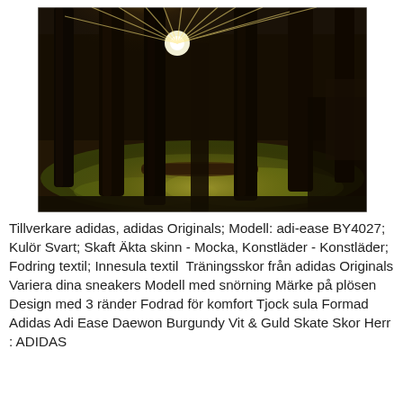[Figure (photo): Forest photo with tall dark tree trunks and sunlight bursting through the canopy, illuminating the green forest floor with golden light.]
Tillverkare adidas, adidas Originals; Modell: adi-ease BY4027; Kulör Svart; Skaft Äkta skinn - Mocka, Konstläder - Konstläder; Fodring textil; Innesula textil  Träningsskor från adidas Originals Variera dina sneakers Modell med snörning Märke på plösen Design med 3 ränder Fodrad för komfort Tjock sula Formad  Adidas Adi Ease Daewon Burgundy Vit & Guld Skate Skor Herr : ADIDAS